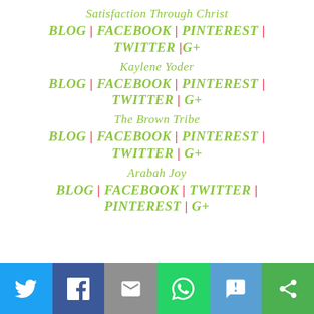Satisfaction Through Christ
BLOG | FACEBOOK | PINTEREST | TWITTER |G+
Kaylene Yoder
BLOG | FACEBOOK | PINTEREST | TWITTER | G+
The Brown Tribe
BLOG | FACEBOOK | PINTEREST | TWITTER | G+
Arabah Joy
BLOG | FACEBOOK | TWITTER | PINTEREST | G+
[Figure (infographic): Social sharing bar with icons for Twitter, Facebook, Email, WhatsApp, SMS, and another sharing option on colored backgrounds.]